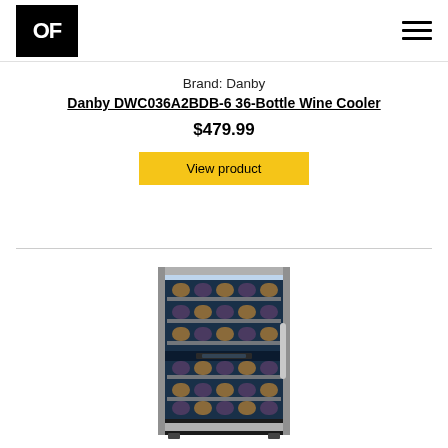[Figure (logo): OF logo — white letters 'OF' on black square background]
Brand: Danby
Danby DWC036A2BDB-6 36-Bottle Wine Cooler
$479.99
View product
[Figure (photo): Danby DWC036A2BDB-6 36-Bottle Wine Cooler — a freestanding wine refrigerator with a black cabinet, stainless steel trim glass door, and visible wine bottle racks with bottles stored inside]